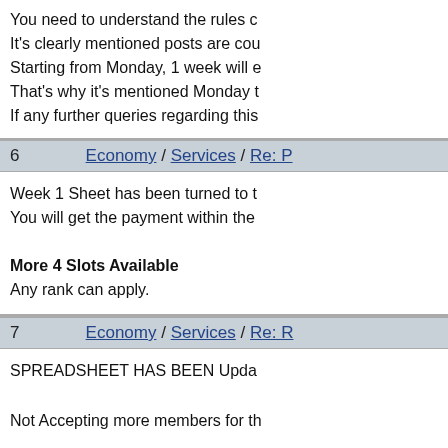You need to understand the rules clearly.
It's clearly mentioned posts are counted from Monday.
Starting from Monday, 1 week will elapse.
That's why it's mentioned Monday to Sunday.
If any further queries regarding this, feel free to ask.
6   Economy / Services / Re: [post title]
Week 1 Sheet has been turned to be checked.
You will get the payment within the week.

More 4 Slots Available
Any rank can apply.
7   Economy / Services / Re: [post title]
SPREADSHEET HAS BEEN Updated

Not Accepting more members for the moment.

@Accepted Participants you have 2 days.
If any problem anywhere arises, feel free to contact.
8   Economy / Services / Re: [post title]
Spreadsheet Has been updated in the Candlestick.
Check if you are accepted in the Candlestick.

More 8 SLOTS Left.